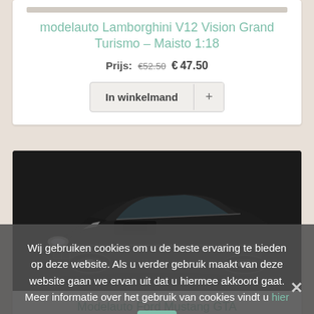modelauto Lamborghini V12 Vision Grand Turismo - Maisto 1:18
Prijs: €52.50 €47.50
In winkelmand +
[Figure (photo): Black Ford Mustang GTA Fastback die-cast model car, viewed from front-top angle on dark background]
Modelauto Ford Mustang GTA Fastback - Maisto 1:18
Wij gebruiken cookies om u de beste ervaring te bieden op deze website. Als u verder gebruik maakt van deze website gaan we ervan uit dat u hiermee akkoord gaat. Meer informatie over het gebruik van cookies vindt u hier